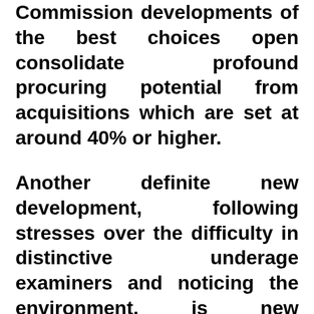Commission developments of the best choices open consolidate profound procuring potential from acquisitions which are set at around 40% or higher.
Another definite new development, following stresses over the difficulty in distinctive underage examiners and noticing the environment, is new sanctioning actually conveyed by the self-authoritative body Electronic business and Online Gaming, Rule and Affirmation (eCOGRA). With the new rules set up, online club are to start a gigantic clampdown on underage and